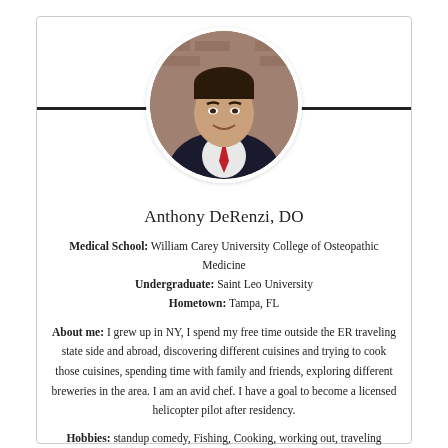[Figure (photo): Circular headshot photo of Anthony DeRenzi, a man in a dark suit with a red tie, smiling, with a brick wall background]
Anthony DeRenzi, DO
Medical School: William Carey University College of Osteopathic Medicine
Undergraduate: Saint Leo University
Hometown: Tampa, FL
About me: I grew up in NY, I spend my free time outside the ER traveling state side and abroad, discovering different cuisines and trying to cook those cuisines, spending time with family and friends, exploring different breweries in the area. I am an avid chef. I have a goal to become a licensed helicopter pilot after residency.
Hobbies: standup comedy, Fishing, Cooking, working out, traveling